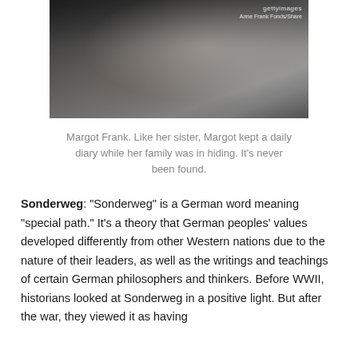[Figure (photo): Black and white photograph of Margot Frank, showing a person from behind/side view with hand on shoulder, Getty Images watermark visible]
Margot Frank. Like her sister, Margot kept a daily diary while her family was in hiding. It’s never been found.
Sonderweg: “Sonderweg” is a German word meaning “special path.” It’s a theory that German peoples’ values developed differently from other Western nations due to the nature of their leaders, as well as the writings and teachings of certain German philosophers and thinkers. Before WWII, historians looked at Sonderweg in a positive light. But after the war, they viewed it as having